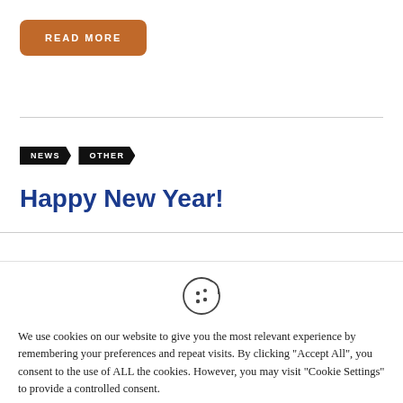READ MORE
NEWS   OTHER
Happy New Year!
We use cookies on our website to give you the most relevant experience by remembering your preferences and repeat visits. By clicking "Accept All", you consent to the use of ALL the cookies. However, you may visit "Cookie Settings" to provide a controlled consent.
Cookie Settings   Accept All